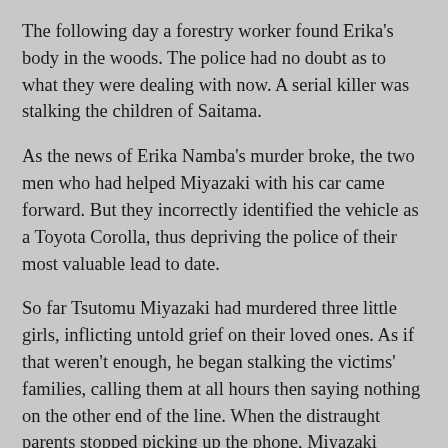The following day a forestry worker found Erika's body in the woods. The police had no doubt as to what they were dealing with now. A serial killer was stalking the children of Saitama.
As the news of Erika Namba's murder broke, the two men who had helped Miyazaki with his car came forward. But they incorrectly identified the vehicle as a Toyota Corolla, thus depriving the police of their most valuable lead to date.
So far Tsutomu Miyazaki had murdered three little girls, inflicting untold grief on their loved ones. As if that weren't enough, he began stalking the victims' families, calling them at all hours then saying nothing on the other end of the line. When the distraught parents stopped picking up the phone, Miyazaki would allow it to continue ringing for upward of 20 minutes. Eventually he tired of taunting the grieving families by telephone and resorted to more sickening measures.
A week after Erika Namba's murder, her father received a postcard with a message formed from cutout magazine letters: “Erika. Cold. Cough. Throat. Rest. Death.” Then on February 6, 1989, Mari Konno's father returned from work to find a box on his